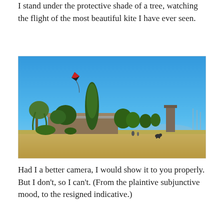I stand under the protective shade of a tree, watching the flight of the most beautiful kite I have ever seen.
[Figure (photo): Outdoor photograph showing a large open grassy park on a clear sunny day with a bright blue sky. In the upper left area of the sky, a small kite is flying. In the background, there are tall trees including a prominent tall thin poplar tree, a building with a flat roof, other trees and shrubs, and what appears to be a tower or monument. The foreground shows a dry, golden-brown grassy field with a few distant people and a dog visible.]
Had I a better camera, I would show it to you properly. But I don't, so I can't. (From the plaintive subjunctive mood, to the resigned indicative.)